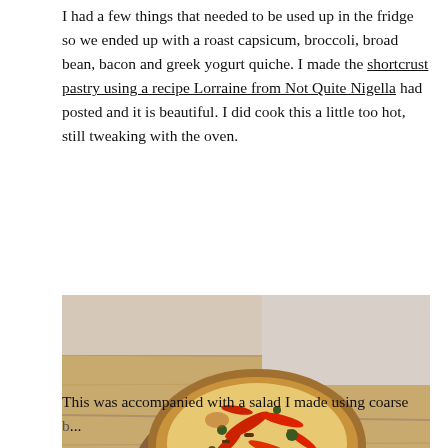I had a few things that needed to be used up in the fridge so we ended up with a roast capsicum, broccoli, broad bean, bacon and greek yogurt quiche. I made the shortcrust pastry using a recipe Lorraine from Not Quite Nigella had posted and it is beautiful. I did cook this a little too hot, still tweaking with the oven.
[Figure (photo): A golden-brown shortcrust pastry quiche filled with egg mixture, red capsicum strips, broccoli, broad beans and bacon, sitting on a round wooden cutting board with a pie server beside it, on a wooden table.]
This was accompanied with a salad I made using coarse...